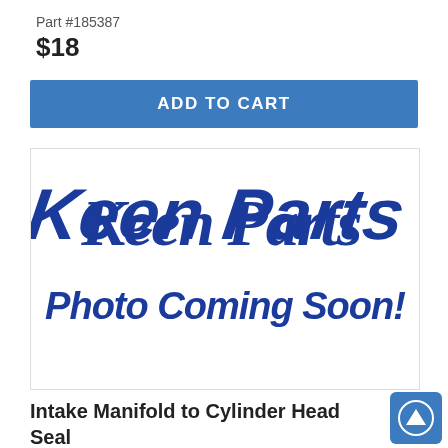Part #185387
$18
ADD TO CART
[Figure (logo): Keen Parts logo in blue cursive script with 'Photo Coming Soon!' text in bold blue italic below]
Intake Manifold to Cylinder Head Seal